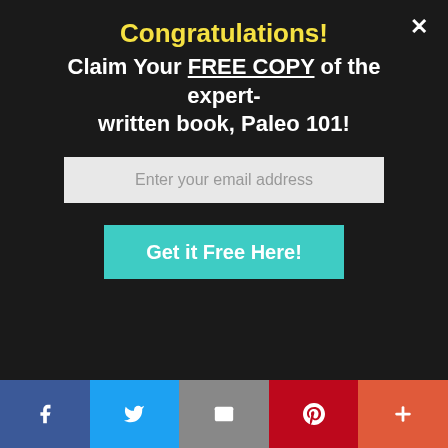Congratulations!
Claim Your FREE COPY of the expert-written book, Paleo 101!
Enter your email address
Get it Free Here!
means something... Read more
Next
Clean Eating: Is It The Ticket To Fat Loss?
[Figure (screenshot): Website popup modal with dark background showing a book promotion for Paleo 101, email input field, and green call-to-action button, overlaying a food/health article page with a 'Next' article preview section, and social sharing bar at the bottom]